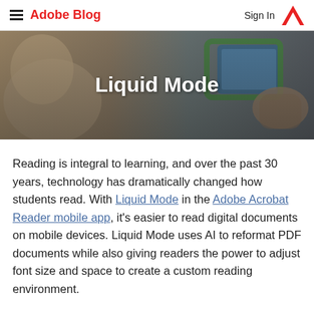Adobe Blog | Sign In
[Figure (photo): Hero banner photo of students using tablets, with overlaid white bold text reading 'Liquid Mode']
Liquid Mode
Reading is integral to learning, and over the past 30 years, technology has dramatically changed how students read. With Liquid Mode in the Adobe Acrobat Reader mobile app, it's easier to read digital documents on mobile devices. Liquid Mode uses AI to reformat PDF documents while also giving readers the power to adjust font size and space to create a custom reading environment.